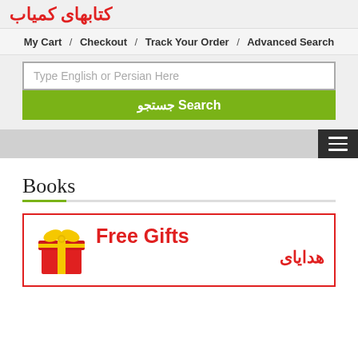کتابهای کمیاب
My Cart / Checkout / Track Your Order / Advanced Search
Type English or Persian Here
جستجو Search
[Figure (screenshot): Navigation strip with hamburger menu icon on right]
Books
[Figure (illustration): Free Gifts / هدایای promotional card with gift box illustration in red border]